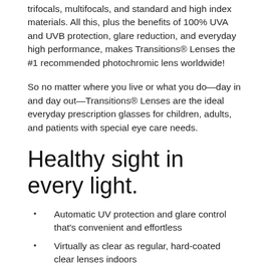trifocals, multifocals, and standard and high index materials. All this, plus the benefits of 100% UVA and UVB protection, glare reduction, and everyday high performance, makes Transitions® Lenses the #1 recommended photochromic lens worldwide!
So no matter where you live or what you do—day in and day out—Transitions® Lenses are the ideal everyday prescription glasses for children, adults, and patients with special eye care needs.
Healthy sight in every light.
Automatic UV protection and glare control that's convenient and effortless
Virtually as clear as regular, hard-coated clear lenses indoors
Even clearer with an anti-reflective coating
As dark as most sunglasses outside in bright light